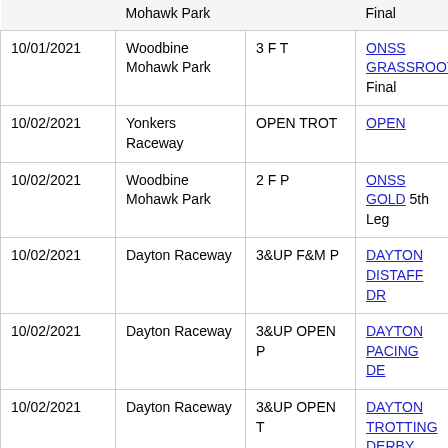| Date | Venue | Category | Race |
| --- | --- | --- | --- |
|  | Mohawk Park |  | Final |
| 10/01/2021 | Woodbine Mohawk Park | 3 F T | ONSS GRASSROOTS Final |
| 10/02/2021 | Yonkers Raceway | OPEN TROT | OPEN |
| 10/02/2021 | Woodbine Mohawk Park | 2 F P | ONSS GOLD 5th Leg |
| 10/02/2021 | Dayton Raceway | 3&UP F&M P | DAYTON DISTAFF DR |
| 10/02/2021 | Dayton Raceway | 3&UP OPEN P | DAYTON PACING DE |
| 10/02/2021 | Dayton Raceway | 3&UP OPEN T | DAYTON TROTTING DERBY |
| 10/02/2021 | Dayton Raceway | 2 C&G P | OHSS Conso |
| 10/02/2021 | Dayton Raceway | 2 C&G T | OHSS Conso |
| 10/02/2021 | Dayton Raceway | 2 F P | OHSS Conso |